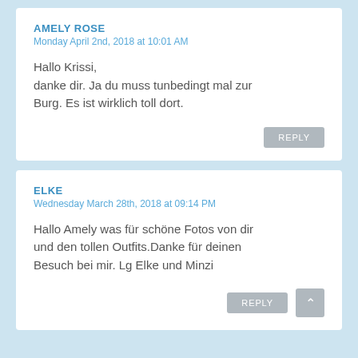AMELY ROSE
Monday April 2nd, 2018 at 10:01 AM
Hallo Krissi, danke dir. Ja du muss tunbedingt mal zur Burg. Es ist wirklich toll dort.
ELKE
Wednesday March 28th, 2018 at 09:14 PM
Hallo Amely was für schöne Fotos von dir und den tollen Outfits.Danke für deinen Besuch bei mir. Lg Elke und Minzi